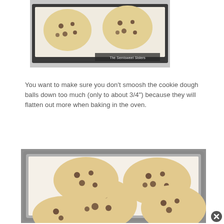[Figure (photo): Cookie dough balls on a dark baking sheet lined with parchment paper, before baking. Watermark reads 'The Semisweet Sisters'.]
You want to make sure you don't smoosh the cookie dough balls down too much (only to about 3/4") because they will flatten out more when baking in the oven.
[Figure (photo): Baked chocolate chip cookies spread out on a parchment-lined metal baking sheet, viewed from above.]